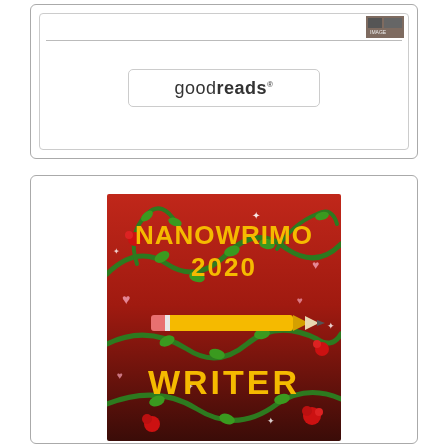[Figure (screenshot): Top card with a horizontal line, a small thumbnail image in top right, and a Goodreads logo/button centered below]
[Figure (illustration): NaNoWriMo 2020 Writer badge image: red and dark background with green vines, roses, hearts, sparkles, a yellow pencil, and bold yellow text reading NANOWRIMO 2020 WRITER]